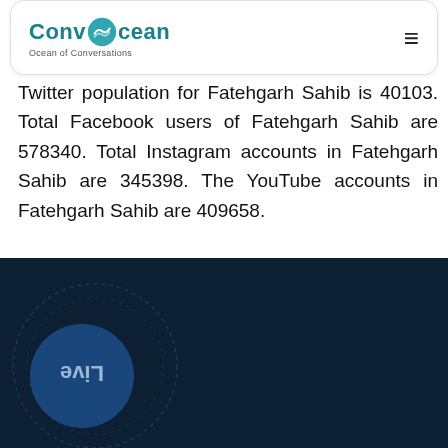[Figure (logo): ConvOcean - Ocean of Conversations logo with teal wave graphic and hamburger menu icon]
Twitter population for Fatehgarh Sahib is 40103. Total Facebook users of Fatehgarh Sahib are 578340. Total Instagram accounts in Fatehgarh Sahib are 345398. The YouTube accounts in Fatehgarh Sahib are 409658.
[Figure (illustration): Dark navy background with circular dashed ring graphic and a blue circle containing mirrored 'Live' text in the bottom section of the page.]